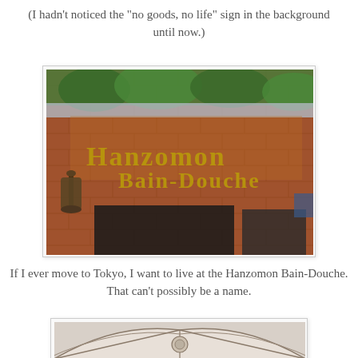(I hadn't noticed the "no goods, no life" sign in the background until now.)
[Figure (photo): Exterior of a brick building with gold Gothic-script lettering reading 'Hanzomon Bain-Douche', a wall-mounted lantern lamp on the left, and greenery visible at the top.]
If I ever move to Tokyo, I want to live at the Hanzomon Bain-Douche.
That can't possibly be a name.
[Figure (photo): Interior architectural ceiling shot showing a white vaulted/arched ceiling with decorative medallion, viewed from below looking up, with structural beams forming arch patterns.]